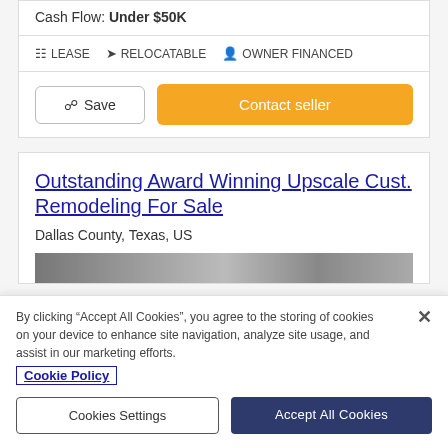Cash Flow: Under $50K
LEASE  RELOCATABLE  OWNER FINANCED
Save
Contact seller
Outstanding Award Winning Upscale Cust. Remodeling For Sale
Dallas County, Texas, US
By clicking “Accept All Cookies”, you agree to the storing of cookies on your device to enhance site navigation, analyze site usage, and assist in our marketing efforts.
Cookie Policy
Cookies Settings
Accept All Cookies